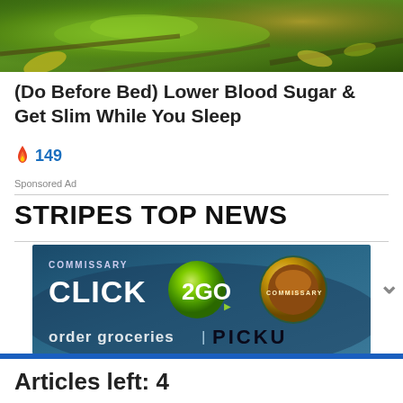[Figure (photo): Close-up photo of a green lizard/chameleon among branches and leaves]
(Do Before Bed) Lower Blood Sugar & Get Slim While You Sleep
🔥 149
Sponsored Ad
STRIPES TOP NEWS
[Figure (logo): Commissary Click2Go advertisement banner with Commissary logo]
Articles left: 4
Subscribe to get unlimited access  Subscribe
Already have an account?  Login here